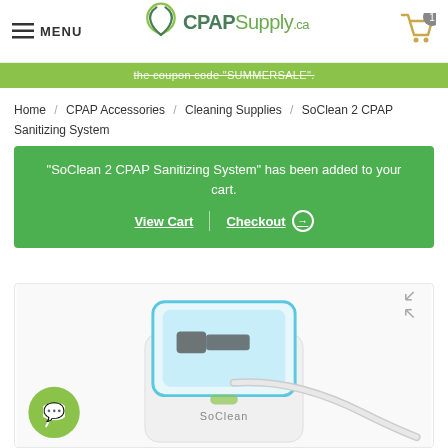MENU | CPAPSupply.ca
the coupon code "SUMMERSALE".
Home / CPAP Accessories / Cleaning Supplies / SoClean 2 CPAP Sanitizing System
"SoClean 2 CPAP Sanitizing System" has been added to your cart. View Cart | Checkout
[Figure (photo): SoClean 2 CPAP Sanitizing System device with open lid showing blue interior, CPAP hose attached, and the SoClean logo on the front of the white device]